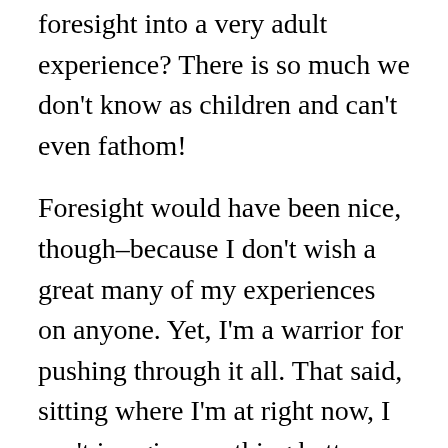foresight into a very adult experience? There is so much we don't know as children and can't even fathom!
Foresight would have been nice, though–because I don't wish a great many of my experiences on anyone. Yet, I'm a warrior for pushing through it all. That said, sitting where I'm at right now, I can't imagine anything better. The gratefulness that I feel for what I have and who I am at this point in my life is huge. The strength and proof of it is me and that small life I created despite it all. I clawed that out of the hands of despair, refusing to fold. That, you should know, I